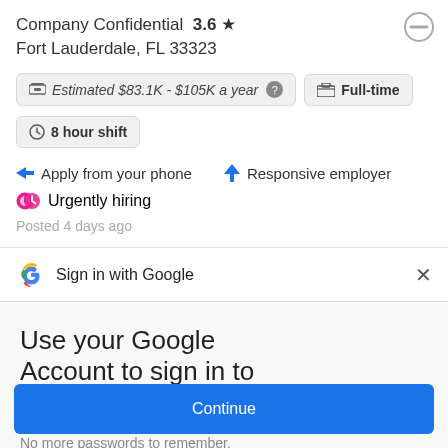Company Confidential 3.6 ★
Fort Lauderdale, FL 33323
Estimated $83.1K - $105K a year ? Full-time
8 hour shift
➤ Apply from your phone   ⚡ Responsive employer
🕐 Urgently hiring
Posted 4 days ago
Sign in with Google
Use your Google Account to sign in to Indeed
No more passwords to remember. Signing in is fast, simple and secure.
Continue